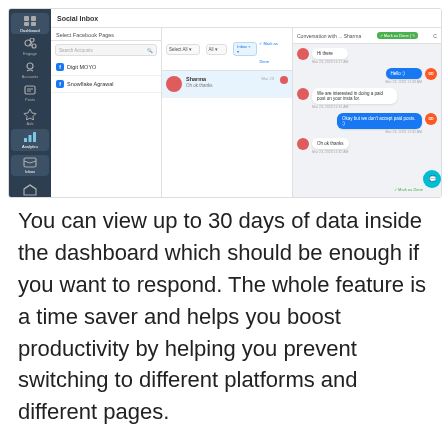[Figure (screenshot): Screenshot of a Social Inbox dashboard interface showing Facebook pages panel, conversation list with user 'Sharma', and a chat panel with messages including 'Hello :)', 'We are interested in doing a paid post on your insta for.', 'Okay but we don't accept paid posts :)', and 'Oh ok thanks'. The interface has a dark sidebar with navigation icons for Dashboard, Engage, Accounts, Posts, Ads, Analytics, and Inbox.]
You can view up to 30 days of data inside the dashboard which should be enough if you want to respond. The whole feature is a time saver and helps you boost productivity by helping you prevent switching to different platforms and different pages.